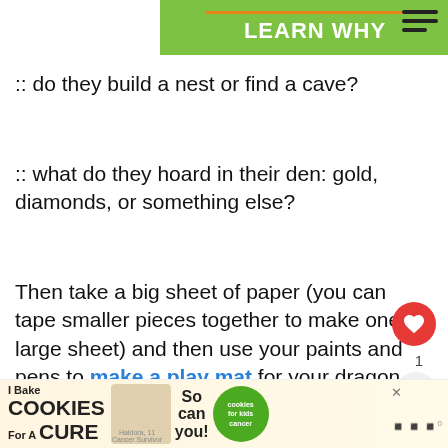LEARN WHY
:: do they build a nest or find a cave?
:: what do they hoard in their den: gold, diamonds, or something else?
Then take a big sheet of paper (you can tape smaller pieces together to make one large sheet) and then use your paints and pens to make a play mat for your dragon to live in.